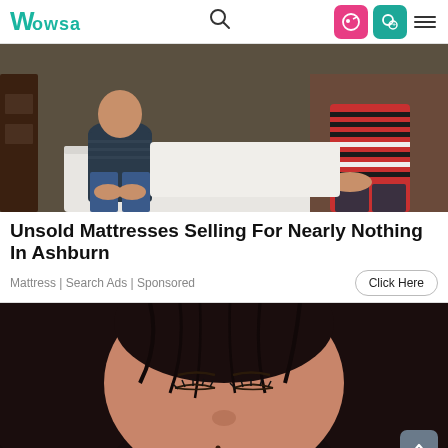Wowsa navigation bar with logo, search, icons, and hamburger menu
[Figure (photo): Two people sitting on either side of a white mattress in a bedroom. Person on left wearing dark striped shirt and jeans, person on right wearing red and black striped top.]
Unsold Mattresses Selling For Nearly Nothing In Ashburn
Mattress | Search Ads | Sponsored
[Figure (photo): Close-up of a person with dark hair bowing their head down, eyes closed, with wet hair around their face. A scroll-to-top button is overlaid in the bottom-right corner.]